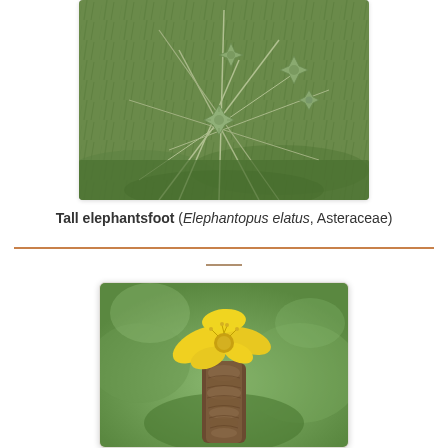[Figure (photo): Photograph of Tall elephantsfoot (Elephantopus elatus) plant showing green spiky bracts on slender stems against a grassy background]
Tall elephantsfoot (Elephantopus elatus, Asteraceae)
[Figure (photo): Close-up photograph of a yellow flower blooming on top of a brown cone-like spike, with a soft green blurred background]